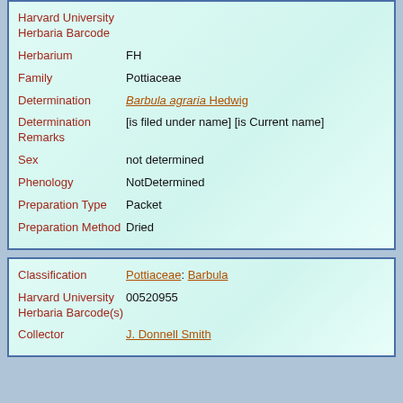| Field | Value |
| --- | --- |
| Harvard University Herbaria Barcode |  |
| Herbarium | FH |
| Family | Pottiaceae |
| Determination | Barbula agraria Hedwig |
| Determination Remarks | [is filed under name] [is Current name] |
| Sex | not determined |
| Phenology | NotDetermined |
| Preparation Type | Packet |
| Preparation Method | Dried |
| Field | Value |
| --- | --- |
| Classification | Pottiaceae: Barbula |
| Harvard University Herbaria Barcode(s) | 00520955 |
| Collector | J. Donnell Smith |